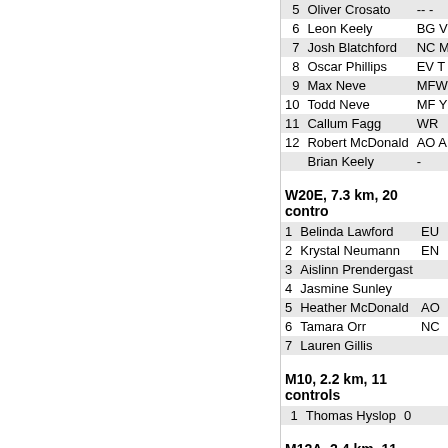| # | Name | Club |
| --- | --- | --- |
| 5 | Oliver Crosato | -- - |
| 6 | Leon Keely | BG V |
| 7 | Josh Blatchford | NC M |
| 8 | Oscar Phillips | EV T |
| 9 | Max Neve | MFW |
| 10 | Todd Neve | MF Y |
| 11 | Callum Fagg | WR |
| 12 | Robert McDonald | AO A |
|  | Brian Keely | - |
W20E, 7.3 km, 20 controls
| # | Name | Club |
| --- | --- | --- |
| 1 | Belinda Lawford | EU |
| 2 | Krystal Neumann | EN |
| 3 | Aislinn Prendergast |  |
| 4 | Jasmine Sunley |  |
| 5 | Heather McDonald | AO |
| 6 | Tamara Orr | NC |
| 7 | Lauren Gillis |  |
M10, 2.2 km, 11 controls
| # | Name | Club |
| --- | --- | --- |
| 1 | Thomas Hyslop | 0 |
M12A, 2.4 km, 11 controls
| # | Name | Club |
| --- | --- | --- |
| 1 | Jan de Jongh |  |